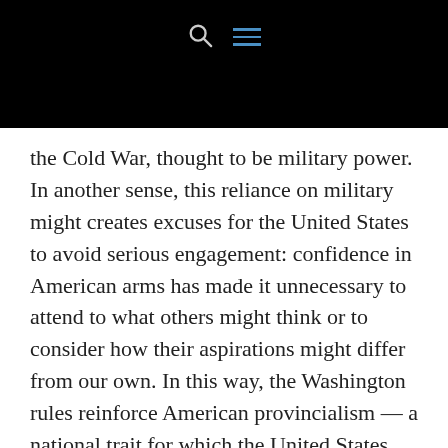[navigation bar with search and menu icons]
the Cold War, thought to be military power. In another sense, this reliance on military might creates excuses for the United States to avoid serious engagement: confidence in American arms has made it unnecessary to attend to what others might think or to consider how their aspirations might differ from our own. In this way, the Washington rules reinforce American provincialism — a national trait for which the United States continues to pay dearly.
The persistence of these rules has also provided an excuse to avoid serious self-engagement. From this perspective,